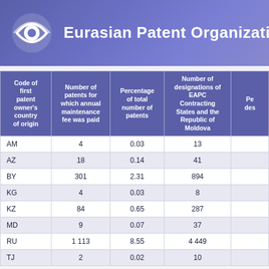Eurasian Patent Organization
| Code of first patent owner's country of origin | Number of patents for which annual maintenance fee was paid | Percentage of total number of patents | Number of designations of EAPC Contracting States and the Republic of Moldova | Pe des |
| --- | --- | --- | --- | --- |
| AM | 4 | 0.03 | 13 |  |
| AZ | 18 | 0.14 | 41 |  |
| BY | 301 | 2.31 | 894 |  |
| KG | 4 | 0.03 | 8 |  |
| KZ | 84 | 0.65 | 287 |  |
| MD | 9 | 0.07 | 37 |  |
| RU | 1 113 | 8.55 | 4 449 |  |
| TJ | 2 | 0.02 | 10 |  |